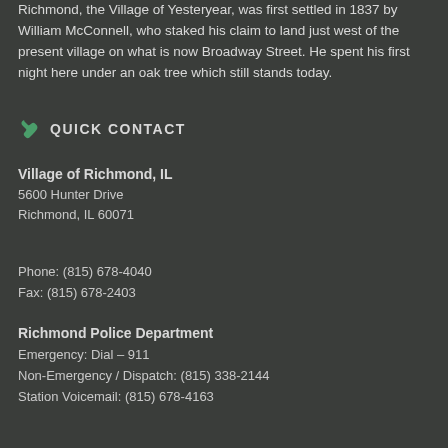Richmond, the Village of Yesteryear, was first settled in 1837 by William McConnell, who staked his claim to land just west of the present village on what is now Broadway Street. He spent his first night here under an oak tree which still stands today.
QUICK CONTACT
Village of Richmond, IL
5600 Hunter Drive
Richmond, IL 60071
Phone: (815) 678-4040
Fax: (815) 678-2403
Richmond Police Department
Emergency: Dial – 911
Non-Emergency / Dispatch: (815) 338-2144
Station Voicemail: (815) 678-4163